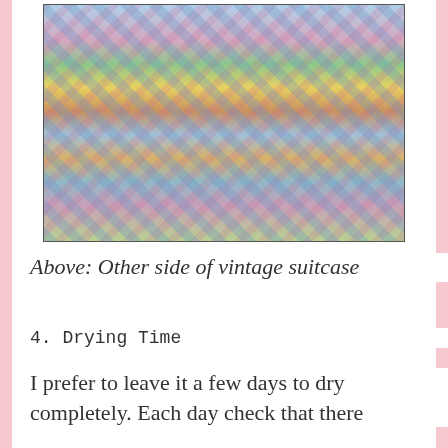[Figure (photo): A vintage suitcase covered in a collage of colorful magazine cutouts including flowers, patterns, vases, and decorative items.]
Above: Other side of vintage suitcase
4. Drying Time
I prefer to leave it a few days to dry completely. Each day check that there